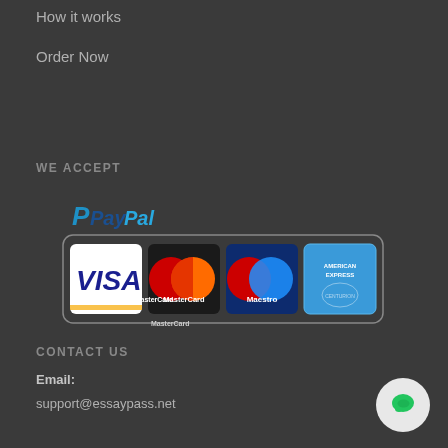How it works
Order Now
WE ACCEPT
[Figure (logo): Payment methods: PayPal, Visa, MasterCard, Maestro, American Express logos inside a rounded rectangle border]
CONTACT US
Email:
support@essaypass.net